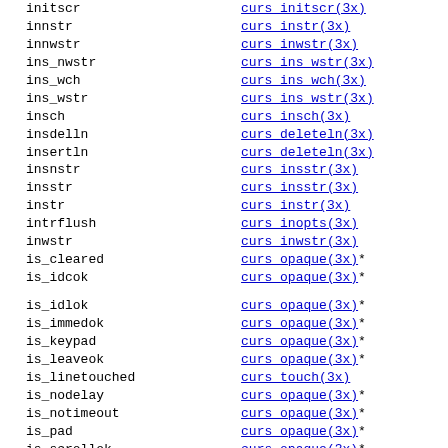initscr | curs_initscr(3x)
innstr | curs_instr(3x)
innwstr | curs_inwstr(3x)
ins_nwstr | curs_ins_wstr(3x)
ins_wch | curs_ins_wch(3x)
ins_wstr | curs_ins_wstr(3x)
insch | curs_insch(3x)
insdelln | curs_deleteln(3x)
insertln | curs_deleteln(3x)
insnstr | curs_insstr(3x)
insstr | curs_insstr(3x)
instr | curs_instr(3x)
intrflush | curs_inopts(3x)
inwstr | curs_inwstr(3x)
is_cleared | curs_opaque(3x)*
is_idcok | curs_opaque(3x)*
is_idlok | curs_opaque(3x)*
is_immedok | curs_opaque(3x)*
is_keypad | curs_opaque(3x)*
is_leaveok | curs_opaque(3x)*
is_linetouched | curs_touch(3x)
is_nodelay | curs_opaque(3x)*
is_notimeout | curs_opaque(3x)*
is_pad | curs_opaque(3x)*
is_scrollok | curs_opaque(3x)*
is_subwin | curs_opaque(3x)*
is_syncok | curs_opaque(3x)*
is_term_resized | resizeterm(3x)*
is_wintouched | curs_touch(3x)
isendwin | curs_initscr(3x)